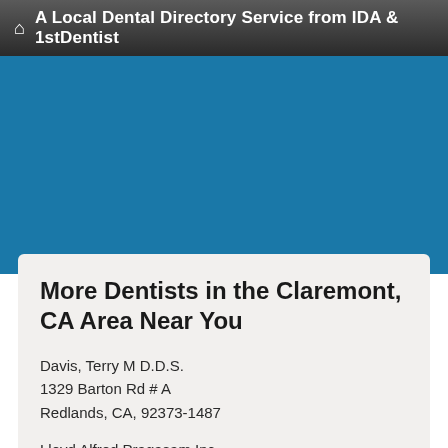A Local Dental Directory Service from IDA & 1stDentist
More Dentists in the Claremont, CA Area Near You
Davis, Terry M D.D.S.
1329 Barton Rd # A
Redlands, CA, 92373-1487
Lloyd Alfred Pragasam Inc